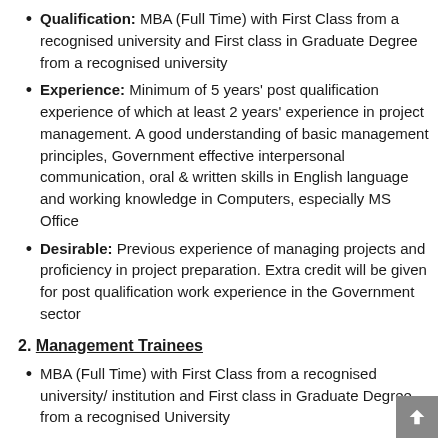Qualification: MBA (Full Time) with First Class from a recognised university and First class in Graduate Degree from a recognised university
Experience: Minimum of 5 years' post qualification experience of which at least 2 years' experience in project management. A good understanding of basic management principles, Government effective interpersonal communication, oral & written skills in English language and working knowledge in Computers, especially MS Office
Desirable: Previous experience of managing projects and proficiency in project preparation. Extra credit will be given for post qualification work experience in the Government sector
2. Management Trainees
MBA (Full Time) with First Class from a recognised university/ institution and First class in Graduate Degree from a recognised University
3. Driver
Pass in 10th Standard from a recognised board